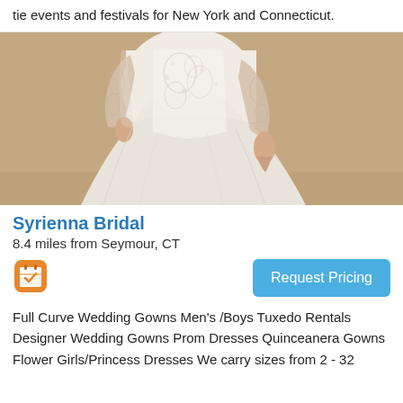tie events and festivals for New York and Connecticut.
[Figure (photo): Photo of a woman wearing a white lace long-sleeve mermaid/fitted wedding gown against a beige/tan background. Only the torso and skirt are visible, not the face.]
Syrienna Bridal
8.4 miles from Seymour, CT
[Figure (other): Orange calendar/booking icon]
Request Pricing
Full Curve Wedding Gowns Men's /Boys Tuxedo Rentals Designer Wedding Gowns Prom Dresses Quinceanera Gowns Flower Girls/Princess Dresses We carry sizes from 2 - 32